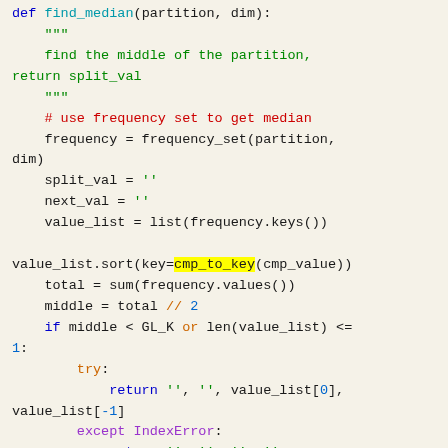[Figure (screenshot): Python source code snippet showing a find_median function with docstring, frequency set usage, sorting with cmp_to_key (highlighted), and try/except block for IndexError handling.]